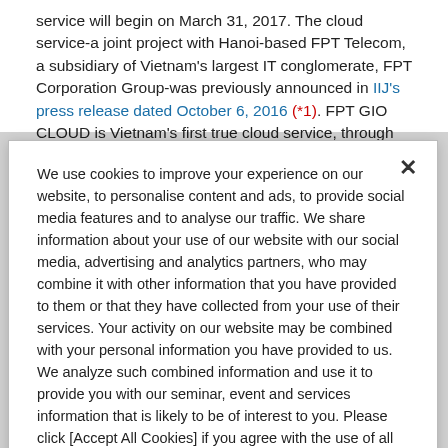service will begin on March 31, 2017. The cloud service-a joint project with Hanoi-based FPT Telecom, a subsidiary of Vietnam's largest IT conglomerate, FPT Corporation Group-was previously announced in IIJ's press release dated October 6, 2016 (*1). FPT GIO CLOUD is Vietnam's first true cloud service, through which the telecom carrier provides a
We use cookies to improve your experience on our website, to personalise content and ads, to provide social media features and to analyse our traffic. We share information about your use of our website with our social media, advertising and analytics partners, who may combine it with other information that you have provided to them or that they have collected from your use of their services. Your activity on our website may be combined with your personal information you have provided to us. We analyze such combined information and use it to provide you with our seminar, event and services information that is likely to be of interest to you. Please click [Accept All Cookies] if you agree with the use of all of our cookies. Please click [Cookie Settings] to customize your cookie settings on our website. Please note, however, that opting out of cookies might impact certain contents and services on this website.